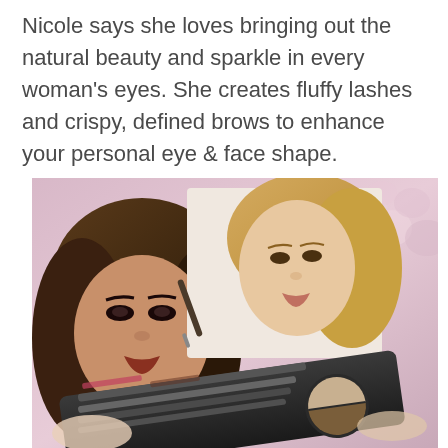Nicole says she loves bringing out the natural beauty and sparkle in every woman's eyes. She creates fluffy lashes and crispy, defined brows to enhance your personal eye & face shape.
[Figure (photo): A makeup artist (blonde woman) applies eye makeup to a dark-haired woman. In the foreground is a dark makeup palette/kit containing several eye pencils and a two-tone brow powder compact. Background is blurred pink/floral tones.]